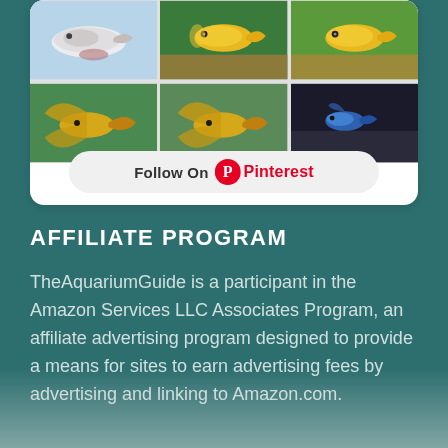[Figure (screenshot): Pinterest widget showing a 3x2 grid of fish (betta/goldfish) photos with a 'Follow On Pinterest' button at the bottom]
AFFILIATE PROGRAM
TheAquariumGuide is a participant in the Amazon Services LLC Associates Program, an affiliate advertising program designed to provide a means for sites to earn advertising fees by advertising and linking to Amazon.com.